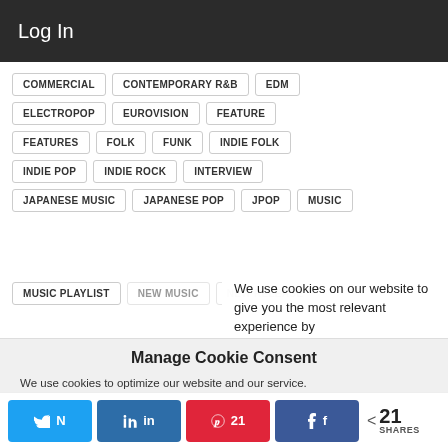Log In
COMMERCIAL
CONTEMPORARY R&B
EDM
ELECTROPOP
EUROVISION
FEATURE
FEATURES
FOLK
FUNK
INDIE FOLK
INDIE POP
INDIE ROCK
INTERVIEW
JAPANESE MUSIC
JAPANESE POP
JPOP
MUSIC
MUSIC PLAYLIST
NEW MUSIC
NEW RELEASE
NEW SINGLE
We use cookies on our website to give you the most relevant experience by
Manage Cookie Consent
We use cookies to optimize our website and our service.
21 SHARES